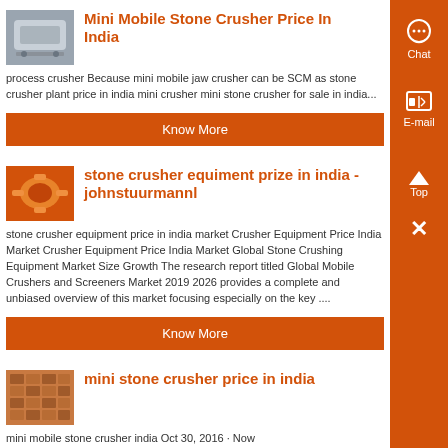[Figure (photo): Industrial machine photo - stone crusher equipment]
Mini Mobile Stone Crusher Price In India
process crusher Because mini mobile jaw crusher can be SCM as stone crusher plant price in india mini crusher mini stone crusher for sale in india...
Know More
[Figure (photo): Stone crusher equipment photo with orange mechanical parts]
stone crusher equiment prize in india - johnstuurmannl
stone crusher equipment price in india market Crusher Equipment Price India Market Crusher Equipment Price India Market Global Stone Crushing Equipment Market Size Growth The research report titled Global Mobile Crushers and Screeners Market 2019 2026 provides a complete and unbiased overview of this market focusing especially on the key ....
Know More
[Figure (photo): Mini stone crusher with brick/aggregate material]
mini stone crusher price in india
mini mobile stone crusher india Oct 30, 2016 · Now